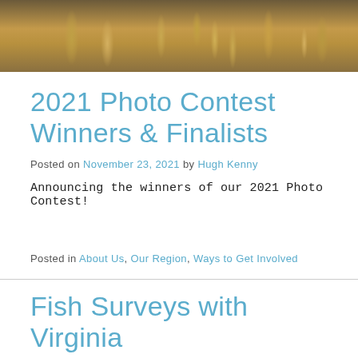[Figure (photo): Outdoor nature photo showing golden dried grasses/wildflowers against a warm brown background, serving as a banner image]
2021 Photo Contest Winners & Finalists
Posted on November 23, 2021 by Hugh Kenny
Announcing the winners of our 2021 Photo Contest!
Posted in About Us, Our Region, Ways to Get Involved
Fish Surveys with Virginia